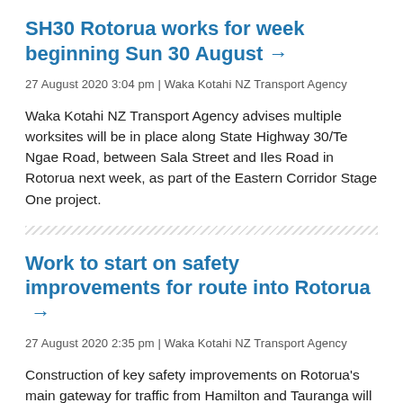SH30 Rotorua works for week beginning Sun 30 August →
27 August 2020 3:04 pm | Waka Kotahi NZ Transport Agency
Waka Kotahi NZ Transport Agency advises multiple worksites will be in place along State Highway 30/Te Ngae Road, between Sala Street and Iles Road in Rotorua next week, as part of the Eastern Corridor Stage One project.
Work to start on safety improvements for route into Rotorua →
27 August 2020 2:35 pm | Waka Kotahi NZ Transport Agency
Construction of key safety improvements on Rotorua's main gateway for traffic from Hamilton and Tauranga will get underway from Monday.